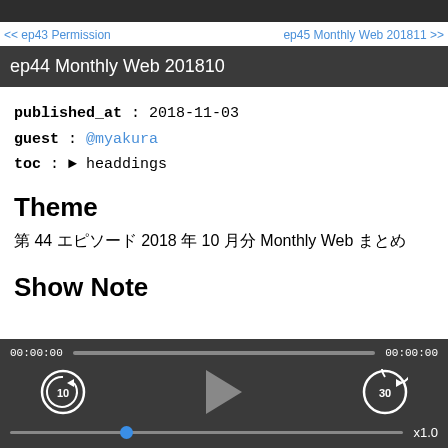ep44 Monthly Web 201810
<< ep43 Permission   ep45 Monthly Web 201811 >>
ep44 Monthly Web 201810
published_at : 2018-11-03
guest : @myakura
toc : ► headdings
Theme
第 44 エピソード 2018 年 10 月分 Monthly Web まとめ
Show Note
[Figure (screenshot): Audio player controls showing 00:00:00 time, progress bar, rewind 10s button, play button, forward 30s button, and x1.0 speed slider]